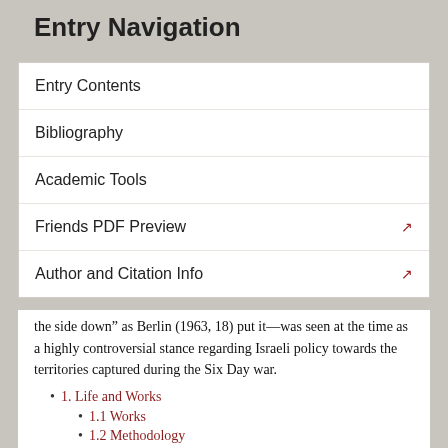Entry Navigation
Entry Contents
Bibliography
Academic Tools
Friends PDF Preview
Author and Citation Info
the side down” as Berlin (1963, 18) put it—was seen at the time as a highly controversial stance regarding Israeli policy towards the territories captured during the Six Day war.
1. Life and Works
1.1 Works
1.2 Methodology
2. God and Theology
3. Interpreting Scripture